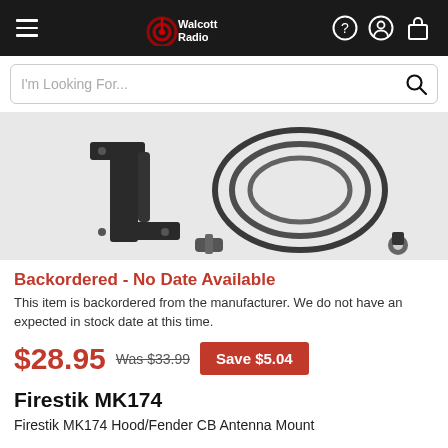Walcott Radio
I'm Looking For...
[Figure (photo): Product photo of Firestik MK174 Hood/Fender CB Antenna Mount showing a black Z-bracket mount and coaxial cable with connectors on a white background]
Backordered - No Date Available
This item is backordered from the manufacturer. We do not have an expected in stock date at this time.
$28.95 Was $33.99 Save $5.04
Firestik MK174
Firestik MK174 Hood/Fender CB Antenna Mount